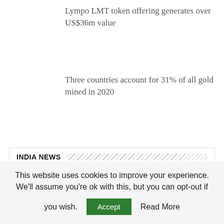Lympo LMT token offering generates over US$36m value
Three countries account for 31% of all gold mined in 2020
INDIA NEWS
Runwal Group launch 'Broadway'
Apr 9, 2021
[Figure (photo): Thumbnail image placeholder for Runwal Group Broadway article]
This website uses cookies to improve your experience. We'll assume you're ok with this, but you can opt-out if you wish.  Accept  Read More